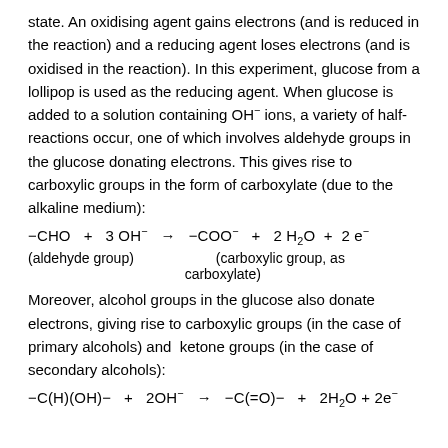state. An oxidising agent gains electrons (and is reduced in the reaction) and a reducing agent loses electrons (and is oxidised in the reaction). In this experiment, glucose from a lollipop is used as the reducing agent. When glucose is added to a solution containing OH⁻ ions, a variety of half-reactions occur, one of which involves aldehyde groups in the glucose donating electrons. This gives rise to carboxylic groups in the form of carboxylate (due to the alkaline medium):
(aldehyde group)          (carboxylic group, as carboxylate)
Moreover, alcohol groups in the glucose also donate electrons, giving rise to carboxylic groups (in the case of primary alcohols) and  ketone groups (in the case of secondary alcohols):